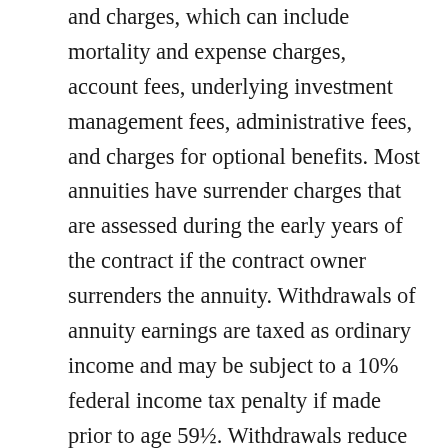and charges, which can include mortality and expense charges, account fees, underlying investment management fees, administrative fees, and charges for optional benefits. Most annuities have surrender charges that are assessed during the early years of the contract if the contract owner surrenders the annuity. Withdrawals of annuity earnings are taxed as ordinary income and may be subject to a 10% federal income tax penalty if made prior to age 59½. Withdrawals reduce annuity contract benefits and values. Any guarantees are contingent on the financial strength and claims-paying ability of the issuing company. Annuities are not guaranteed by the FDIC or any other government agency; they are not deposits of, nor are they guaranteed or endorsed by, any bank or savings association. With variable annuities, the investment